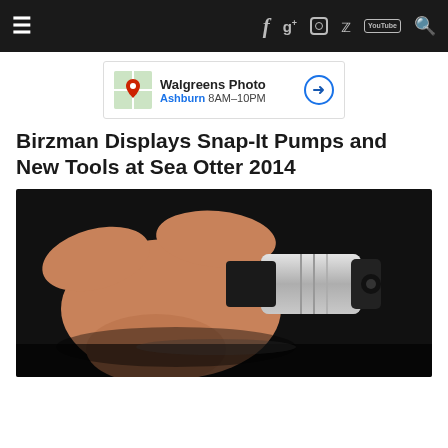Navigation bar with hamburger menu, Facebook, Google+, Instagram, Twitter, YouTube, Search icons
[Figure (screenshot): Walgreens Photo advertisement banner showing a map marker icon, brand name, Ashburn 8AM-10PM, and a blue circular arrow icon]
Birzman Displays Snap-It Pumps and New Tools at Sea Otter 2014
[Figure (photo): Close-up photo of a hand holding a silver and black bicycle pump head/valve adapter against a dark background]